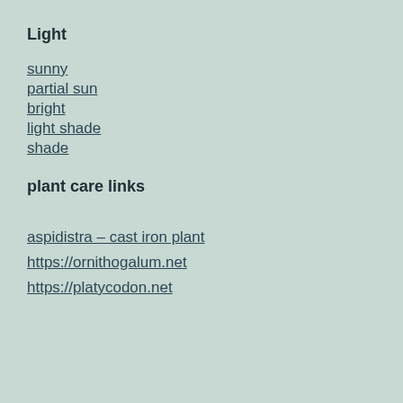Light
sunny
partial sun
bright
light shade
shade
plant care links
aspidistra – cast iron plant
https://ornithogalum.net
https://platycodon.net